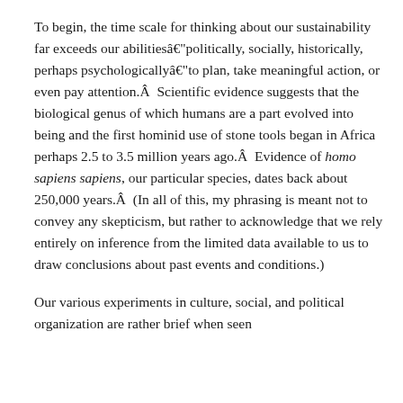To begin, the time scale for thinking about our sustainability far exceeds our abilitiesâ€”politically, socially, historically, perhaps psychologicallyâ€”to plan, take meaningful action, or even pay attention.Â  Scientific evidence suggests that the biological genus of which humans are a part evolved into being and the first hominid use of stone tools began in Africa perhaps 2.5 to 3.5 million years ago.Â  Evidence of homo sapiens sapiens, our particular species, dates back about 250,000 years.Â  (In all of this, my phrasing is meant not to convey any skepticism, but rather to acknowledge that we rely entirely on inference from the limited data available to us to draw conclusions about past events and conditions.)
Our various experiments in culture, social, and political organization are rather brief when seen...